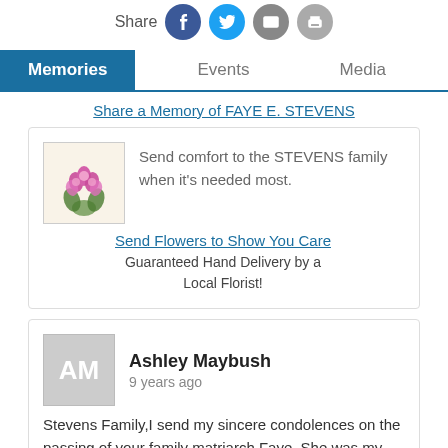[Figure (infographic): Share bar with social icons: Facebook (blue circle), Twitter (cyan circle), Email (grey circle), Print (grey circle)]
Memories | Events | Media (tab navigation)
Share a Memory of FAYE E. STEVENS
[Figure (infographic): Flower bouquet advertisement card: image of pink flowers, text 'Send comfort to the STEVENS family when it's needed most.', link 'Send Flowers to Show You Care', 'Guaranteed Hand Delivery by a Local Florist!']
Ashley Maybush
9 years ago

Stevens Family,I send my sincere condolences on the passing of your family matriarch Faye. She was my great